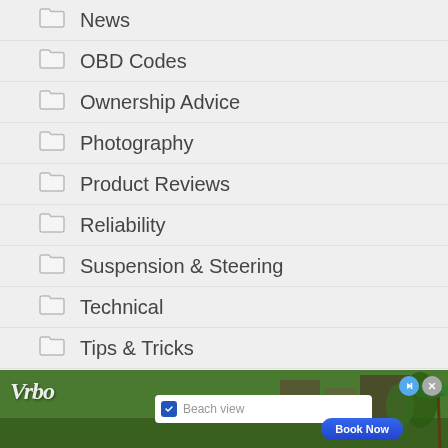News
OBD Codes
Ownership Advice
Photography
Product Reviews
Reliability
Suspension & Steering
Technical
Tips & Tricks
Transmission
Travel
Trending
Troubleshooting
[Figure (infographic): Vrbo vacation rental advertisement banner with beach view search and Book Now button]